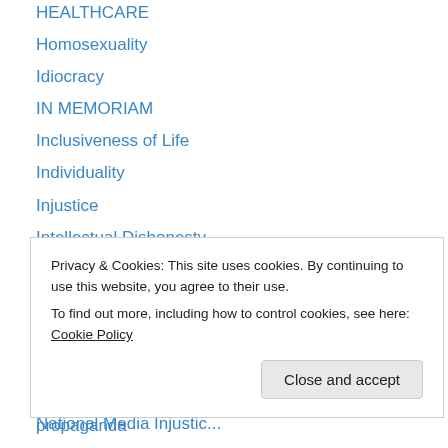HEALTHCARE
Homosexuality
Idiocracy
IN MEMORIAM
Inclusiveness of Life
Individuality
Injustice
Intellectual Dishonesty
Keystone Cops
Legion of Dishonor Award
Malala Yousafzai
Meaning of life
Music
National Media Injustice (partial, cut off)
Privacy & Cookies: This site uses cookies. By continuing to use this website, you agree to their use. To find out more, including how to control cookies, see here: Cookie Policy
propaganda